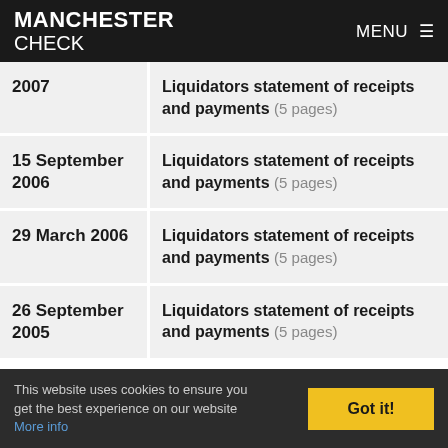MANCHESTER CHECK | MENU
2007 | Liquidators statement of receipts and payments (5 pages)
15 September 2006 | Liquidators statement of receipts and payments (5 pages)
29 March 2006 | Liquidators statement of receipts and payments (5 pages)
26 September 2005 | Liquidators statement of receipts and payments (5 pages)
Show all filing history (62 documents)
This website uses cookies to ensure you get the best experience on our website More info